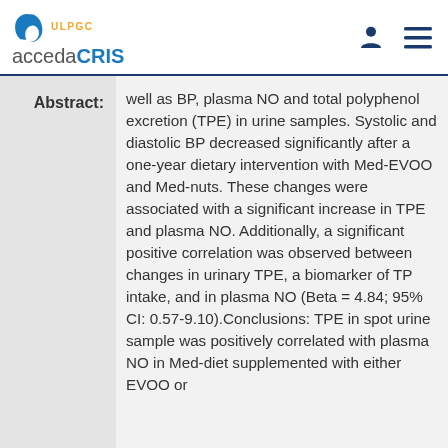ULPGC accedaCRIS
Abstract:
well as BP, plasma NO and total polyphenol excretion (TPE) in urine samples. Systolic and diastolic BP decreased significantly after a one-year dietary intervention with Med-EVOO and Med-nuts. These changes were associated with a significant increase in TPE and plasma NO. Additionally, a significant positive correlation was observed between changes in urinary TPE, a biomarker of TP intake, and in plasma NO (Beta = 4.84; 95% CI: 0.57-9.10).Conclusions: TPE in spot urine sample was positively correlated with plasma NO in Med-diet supplemented with either EVOO or